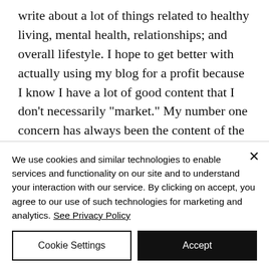write about a lot of things related to healthy living, mental health, relationships; and overall lifestyle. I hope to get better with actually using my blog for a profit because I know I have a lot of good content that I don't necessarily "market." My number one concern has always been the content of the pieces and I skipped over the SEO lessons. Writing is my deepest passion and I have wanted to be a
We use cookies and similar technologies to enable services and functionality on our site and to understand your interaction with our service. By clicking on accept, you agree to our use of such technologies for marketing and analytics. See Privacy Policy